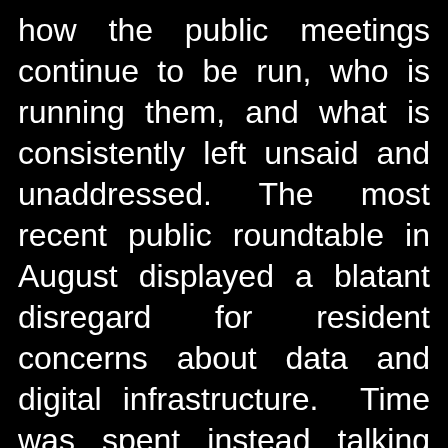how the public meetings continue to be run, who is running them, and what is consistently left unsaid and unaddressed. The most recent public roundtable in August displayed a blatant disregard for resident concerns about data and digital infrastructure. Time was spent instead talking about buildings made out of wood and the width of one-way streets, things no one has contested or expressed